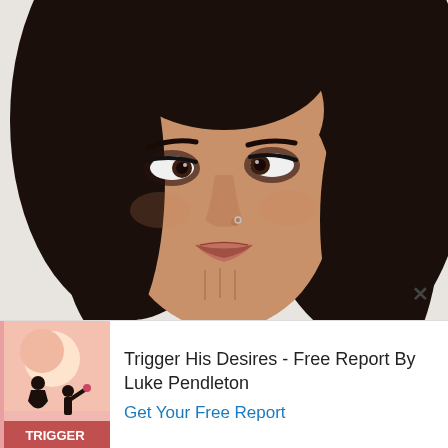[Figure (photo): Close-up photo of a young woman with long dark hair, heavy eye makeup, looking sideways with a pouty/skeptical expression, resting her chin on her hand. White background. A close/dismiss X button appears in the lower-right corner of the photo.]
[Figure (photo): Book cover for 'Trigger His Desires' showing silhouettes of a woman and man on a pink background with the word TRIGGER at the bottom.]
Trigger His Desires - Free Report By Luke Pendleton
Get Your Free Report